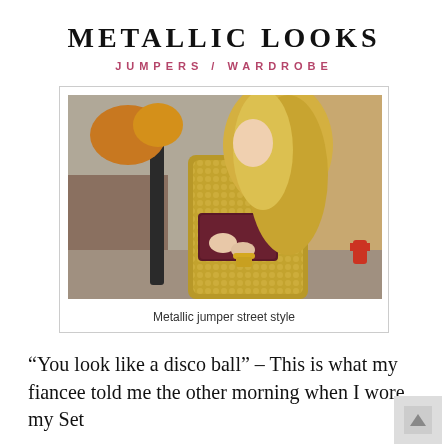METALLIC LOOKS
JUMPERS / WARDROBE
[Figure (photo): A blonde woman wearing a gold metallic/sequined jumper, holding a dark burgundy clutch bag, standing on a street with trees and buildings in background]
Metallic jumper street style
“You look like a disco ball” – This is what my fiancee told me the other morning when I wore my Set